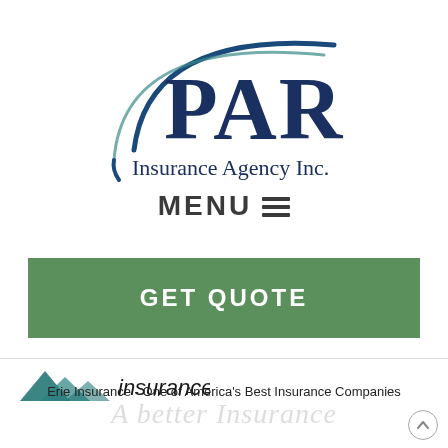[Figure (logo): PAR Insurance Agency Inc. logo — dark navy PAR letters with a teal and navy arc/swoosh forming a circular frame around the letters, and 'Insurance Agency Inc.' in navy below]
MENU ☰
GET QUOTE
[Figure (logo): Erie Insurance logo — stylized mountain peaks (triangles) in teal/dark teal with 'insurance' text]
Erie Insurance - One of America's Best Insurance Companies
A better Insurance